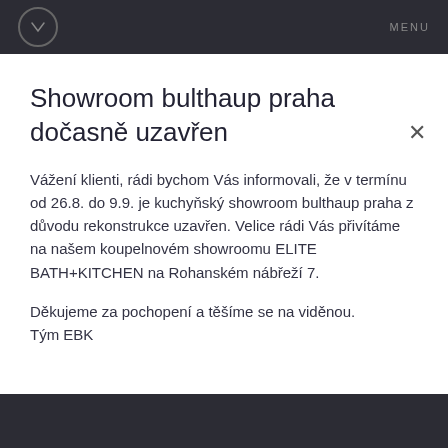MENU
Showroom bulthaup praha dočasně uzavřen
Vážení klienti, rádi bychom Vás informovali, že v termínu od 26.8. do 9.9. je kuchyňský showroom bulthaup praha z důvodu rekonstrukce uzavřen. Velice rádi Vás přivítáme na našem koupelnovém showroomu ELITE BATH+KITCHEN na Rohanském nábřeží 7.
Děkujeme za pochopení a těšíme se na viděnou.
Tým EBK